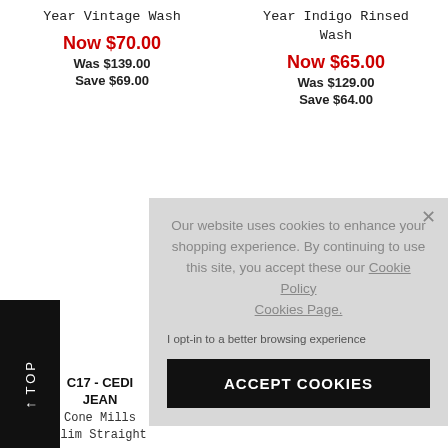Year Vintage Wash
Now $70.00
Was $139.00
Save $69.00
Year Indigo Rinsed Wash
Now $65.00
Was $129.00
Save $64.00
Our website uses cookies to enhance your shopping experience. By continuing to use this site, you accept these our Cookie Policy Cookies Page.
I opt-in to a better browsing experience
ACCEPT COOKIES
↑ TOP
C17 - CEDI
JEAN
Cone Mills
Slim Straight
Slim Straight